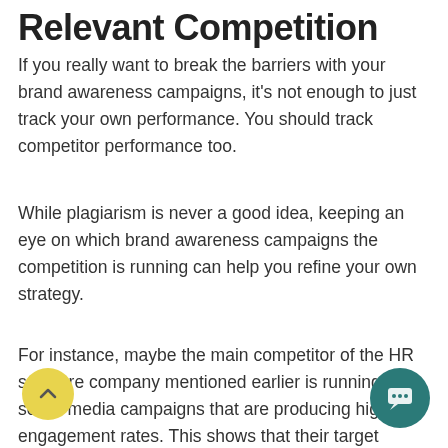Relevant Competition
If you really want to break the barriers with your brand awareness campaigns, it's not enough to just track your own performance. You should track competitor performance too.
While plagiarism is never a good idea, keeping an eye on which brand awareness campaigns the competition is running can help you refine your own strategy.
For instance, maybe the main competitor of the HR software company mentioned earlier is running social media campaigns that are producing high engagement rates. This shows that their target audience is responding to social media campaigns, and they might want to consider a